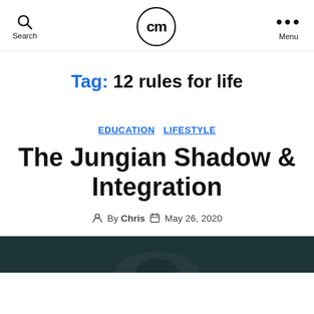Search | cm logo | Menu
Tag: 12 rules for life
EDUCATION  LIFESTYLE
The Jungian Shadow & Integration
By Chris  May 26, 2020
[Figure (photo): Dark atmospheric image at the bottom of the page, partially visible]